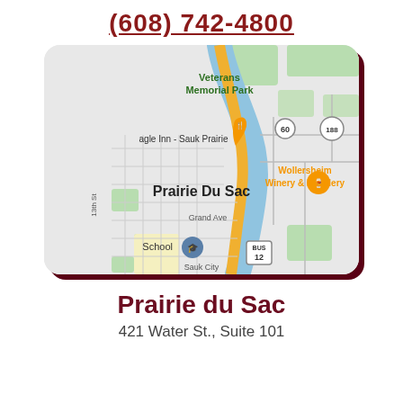(608) 742-4800
[Figure (map): Google Maps view of Prairie Du Sac, Wisconsin showing Veterans Memorial Park, Eagle Inn - Sauk Prairie, Wollersheim Winery & Distillery, Grand Ave, 13th St, and route markers for 60, 188, and BUS 12.]
Prairie du Sac
421 Water St., Suite 101